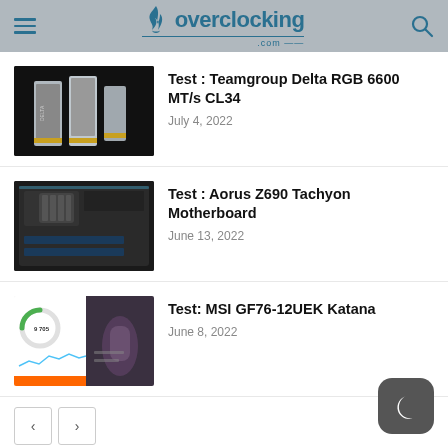overclocking.com
Test : Teamgroup Delta RGB 6600 MT/s CL34 — July 4, 2022
Test : Aorus Z690 Tachyon Motherboard — June 13, 2022
Test: MSI GF76-12UEK Katana — June 8, 2022